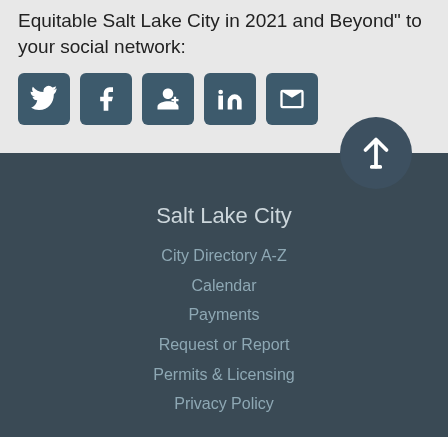Equitable Salt Lake City in 2021 and Beyond" to your social network:
[Figure (other): Social media share icons: Twitter, Facebook, Google+, LinkedIn, Email]
Salt Lake City
City Directory A-Z
Calendar
Payments
Request or Report
Permits & Licensing
Privacy Policy